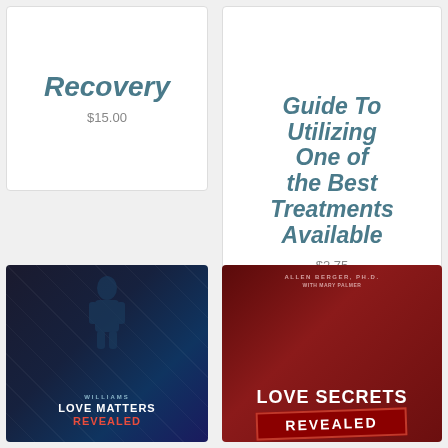Recovery
$15.00
Patients Guide To Utilizing One of the Best Treatments Available
$2.75
[Figure (illustration): Book cover: Love Matters Revealed by Williams, dark blue geometric design with silhouette]
[Figure (illustration): Book cover: Love Secrets Revealed by Allen Berger Ph.D. with Mary Palmer, dark red background]